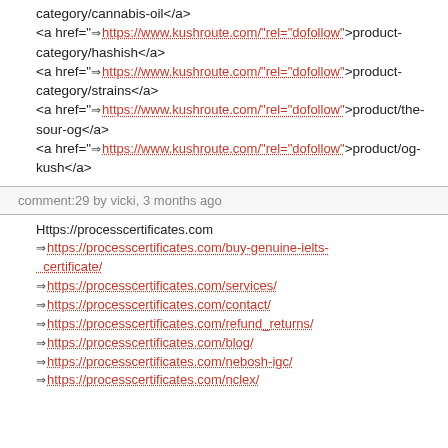category/cannabis-oil</a>
<a href="⇒ https://www.kushroute.com/"rel="dofollow">product-category/hashish</a>
<a href="⇒ https://www.kushroute.com/"rel="dofollow">product-category/strains</a>
<a href="⇒ https://www.kushroute.com/"rel="dofollow">product/the-sour-og</a>
<a href="⇒ https://www.kushroute.com/"rel="dofollow">product/og-kush</a>
comment:29 by vicki, 3 months ago
Https://processcertificates.com
⇒https://processcertificates.com/buy-genuine-ielts-certificate/
⇒https://processcertificates.com/services/
⇒https://processcertificates.com/contact/
⇒https://processcertificates.com/refund_returns/
⇒https://processcertificates.com/blog/
⇒https://processcertificates.com/nebosh-igc/
⇒https://processcertificates.com/nclex/